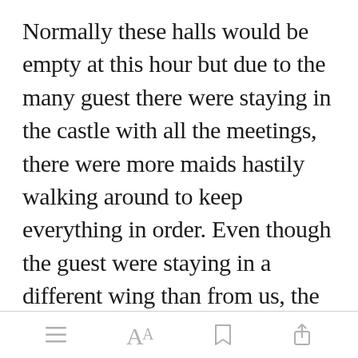Normally these halls would be empty at this hour but due to the many guest there were staying in the castle with all the meetings, there were more maids hastily walking around to keep everything in order. Even though the guest were staying in a different wing than from us, the washing room and the kitchen we[Open in app]ed in the part
[menu icon] [font icon] [bookmark icon] [share icon]